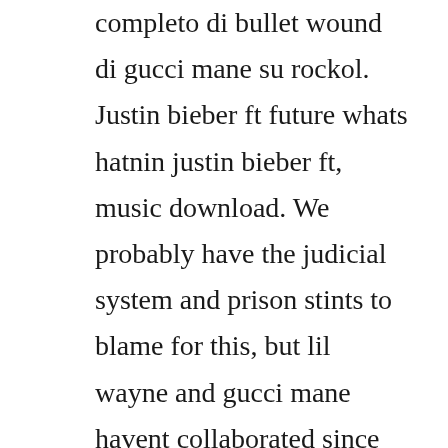completo di bullet wound di gucci mane su rockol. Justin bieber ft future whats hatnin justin bieber ft, music download. We probably have the judicial system and prison stints to blame for this, but lil wayne and gucci mane havent collaborated since they destroyed steady mobbin way back in 2009 for the. Radric davis born february 12, 1980 in birmingham, alabama, better known by his stage name gucci mane, is an american rapper and ceo of 1017 brick squad records. Best hip hop artiststim westwoodbest rapper alivemighty joelil waynebob marley black.